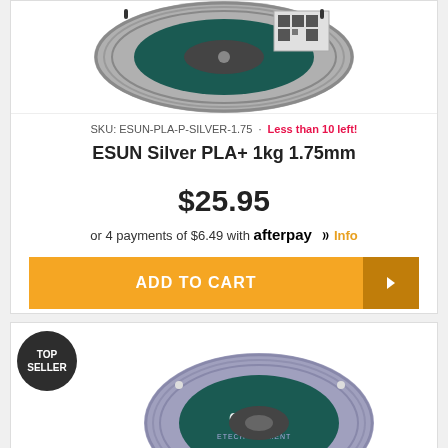[Figure (photo): Partial view of silver filament spool from top]
SKU: ESUN-PLA-P-SILVER-1.75 • Less than 10 left!
ESUN Silver PLA+ 1kg 1.75mm
$25.95
or 4 payments of $6.49 with afterpay Info
ADD TO CART
[Figure (photo): eSUN branded filament spool with TOP SELLER badge, bottom product card]